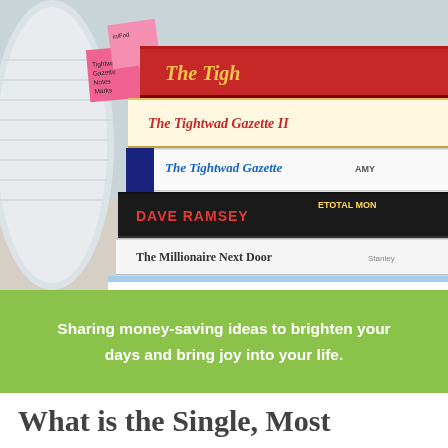[Figure (photo): A stack of personal finance books including The Tightwad Gazette II, The Tightwad Gazette, Dave Ramsey Total Money Makeover, and The Millionaire Next Door, with pink sticky notes on the side and a white vase/cup on the left.]
Sharing money-saving ideas to brighten your days and bring joy into your life.
What is the Single, Most